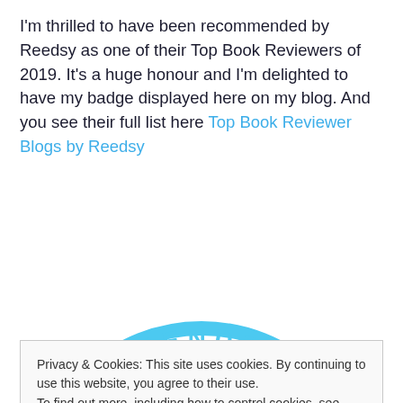I'm thrilled to have been recommended by Reedsy as one of their Top Book Reviewers of 2019. It's a huge honour and I'm delighted to have my badge displayed here on my blog. And you see their full list here Top Book Reviewer Blogs by Reedsy
[Figure (illustration): Circular badge in blue with text 'RECOMMENDED TOP' visible, partially cropped at bottom of page]
Privacy & Cookies: This site uses cookies. By continuing to use this website, you agree to their use.
To find out more, including how to control cookies, see here: Cookie Policy